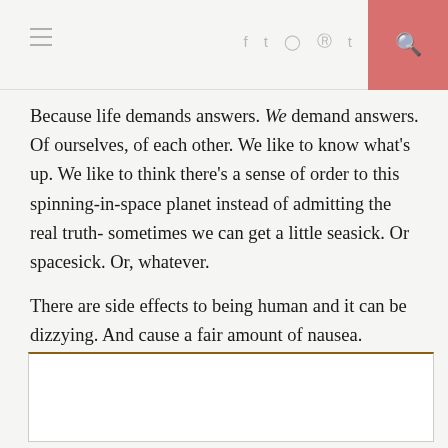≡   f t ℹ p t 🔍
Because life demands answers. We demand answers. Of ourselves, of each other. We like to know what's up. We like to think there's a sense of order to this spinning-in-space planet instead of admitting the real truth- sometimes we can get a little seasick. Or spacesick. Or, whatever.
There are side effects to being human and it can be dizzying. And cause a fair amount of nausea.
[Figure (other): A ruled box with a dark gold/brown top border, representing a content or comment box area, empty interior]